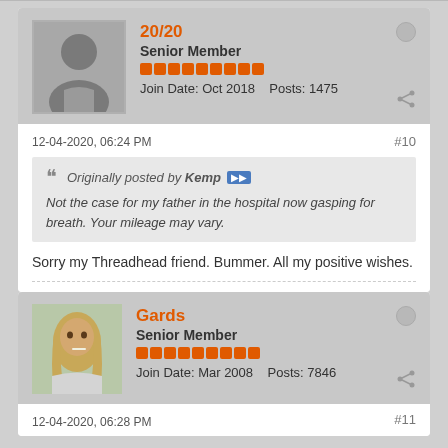20/20
Senior Member
Join Date: Oct 2018    Posts: 1475
12-04-2020, 06:24 PM
#10
Originally posted by Kemp
Not the case for my father in the hospital now gasping for breath. Your mileage may vary.
Sorry my Threadhead friend. Bummer. All my positive wishes.
Gards
Senior Member
Join Date: Mar 2008    Posts: 7846
12-04-2020, 06:28 PM
#11